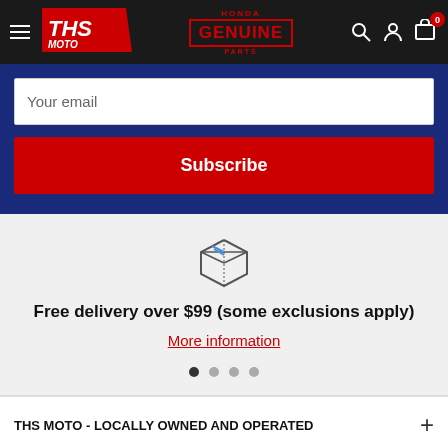THS MOTO | Honda Genuine Parts
Your email
Subscribe
[Figure (illustration): Package/box delivery icon, outline style with blue accent lines]
Free delivery over $99 (some exclusions apply)
More information
THS MOTO - LOCALLY OWNED AND OPERATED